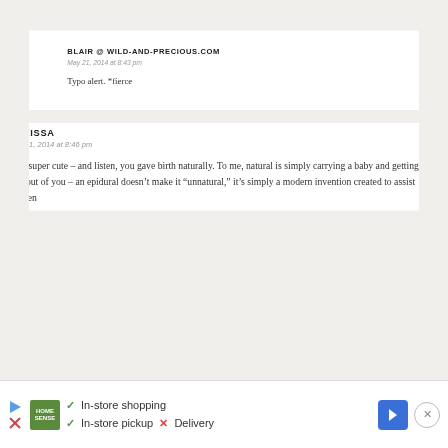BLAIR @ WILD-AND-PRECIOUS.COM
May 21, 2014 at 8:43 pm
Typo alert. *fierce
MELISSA
May 21, 2014 at 8:46 pm
He’s super cute – and listen, you gave birth naturally. To me, natural is simply carrying a baby and getting him out of you – an epidural doesn’t make it “unnatural,” it’s simply a modern invention created to assist women
[Figure (infographic): Ad banner: Home Sense store ad with checkmarks for In-store shopping and In-store pickup, X for Delivery, navigation arrow icon, and close button]